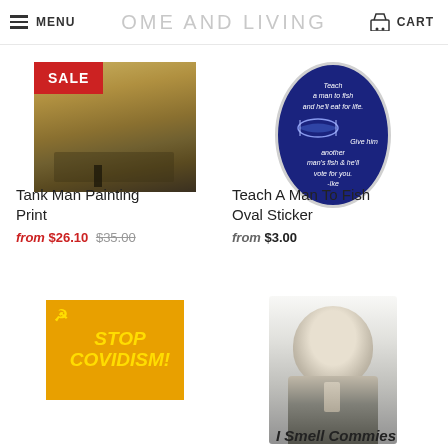MENU  HOME AND LIVING  CART
[Figure (photo): Tank Man Tiananmen Square photograph showing a man standing in front of a line of tanks, with a red SALE badge overlay]
[Figure (illustration): Oval sticker on dark blue background with fish illustration and text 'Teach a man to fish and he'll eat for life. Give him another man's fish & he'll vote for you. -Ike']
Tank Man Painting Print
from $26.10  $35.00
Teach A Man To Fish Oval Sticker
from $3.00
[Figure (illustration): Orange/yellow square sticker with hammer and sickle symbol and text 'STOP COVIDISM!' in yellow bold italic letters]
[Figure (illustration): Black and white illustrated portrait of Ronald Reagan smiling in a suit and tie, with caption 'I Smell Commies']
I Smell Commies